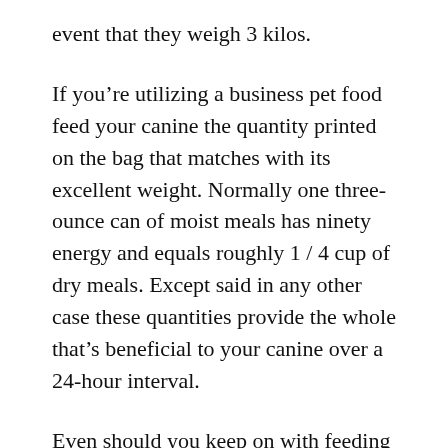event that they weigh 3 kilos.
If you’re utilizing a business pet food feed your canine the quantity printed on the bag that matches with its excellent weight. Normally one three-ounce can of moist meals has ninety energy and equals roughly 1 / 4 cup of dry meals. Except said in any other case these quantities provide the whole that’s beneficial to your canine over a 24-hour interval.
Even should you keep on with feeding guides on-line or on meals packaging assess your canine physique situation continuously to ensure they arent changing into underweight or overweight. Most experts recommend that you